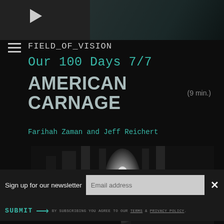[Figure (screenshot): Top thumbnail strip with play button and dark video still]
FIELD_OF_VISION
Our 100 Days 7/7
AMERICAN CARNAGE
(9 min.)
Farihah Zaman and Jeff Reichert
[Figure (photo): Black and white photo of a large rally with draped banners and a lit figure on stage]
Sign up for our newsletter
SUBMIT → BY SUBSCRIBING YOU AGREE TO OUR TERMS & PRIVACY POLICY.